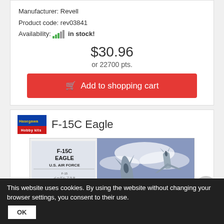Manufacturer: Revell
Product code: rev03841
Availability: in stock!
$30.96
or 22700 pts.
Add to shopping cart
F-15C Eagle
[Figure (photo): F-15C Eagle model kit box art showing two F-15C Eagle jets in flight over clouds, with box label reading F-15C EAGLE U.S. AIR FORCE]
Scale: 1:72
Manufacturer: Hasegawa
Product code: hasE13
This website uses cookies. By using the website without changing your browser settings, you consent to their use.